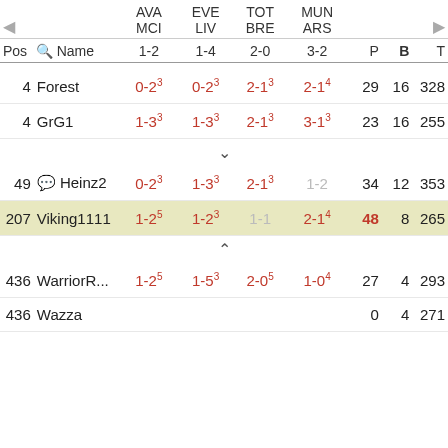| Pos | Name | AVA MCI 1-2 | EVE LIV 1-4 | TOT BRE 2-0 | MUN ARS 3-2 | P | B | T |
| --- | --- | --- | --- | --- | --- | --- | --- | --- |
| 4 | Forest | 0-2₃ | 0-2₃ | 2-1₃ | 2-1₄ | 29 | 16 | 328 |
| 4 | GrG1 | 1-3₃ | 1-3₃ | 2-1₃ | 3-1₃ | 23 | 16 | 255 |
| 49 | 🏠 Heinz2 | 0-2₃ | 1-3₃ | 2-1₃ | 1-2 | 34 | 12 | 353 |
| 207 | Viking1111 | 1-2₅ | 1-2₃ | 1-1 | 2-1₄ | 48 | 8 | 265 |
| 436 | WarriorR... | 1-2₅ | 1-5₃ | 2-0₅ | 1-0₄ | 27 | 4 | 293 |
| 436 | Wazza |  |  |  |  | 0 | 4 | 271 |